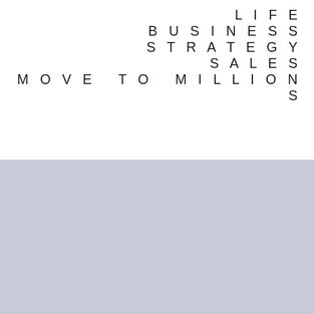LIFE
BUSINESS
STRATEGY
SALES
MOVE TO MILLIONS
[Figure (other): Comment input box with placeholder text 'Add a comment...' on a light lavender-grey background, with a reCAPTCHA badge in the bottom right corner showing the reCAPTCHA logo and 'Privacy · Terms' text]